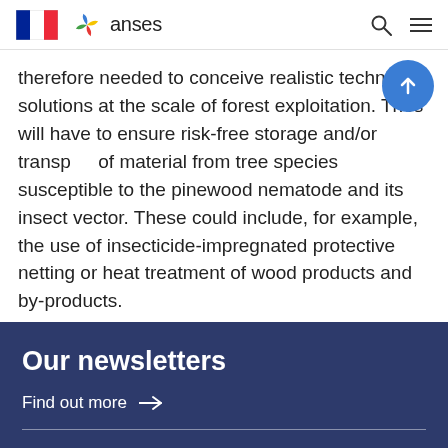ANSES - Agence nationale de sécurité sanitaire
therefore needed to conceive realistic technical solutions at the scale of forest exploitation. These will have to ensure risk-free storage and/or transport of material from tree species susceptible to the pinewood nematode and its insect vector. These could include, for example, the use of insecticide-impregnated protective netting or heat treatment of wood products and by-products.
Our newsletters
Find out more →